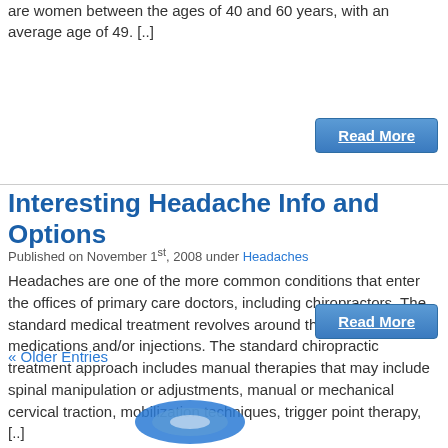are women between the ages of 40 and 60 years, with an average age of 49. [..]
Read More
Interesting Headache Info and Options
Published on November 1st, 2008 under Headaches
Headaches are one of the more common conditions that enter the offices of primary care doctors, including chiropractors. The standard medical treatment revolves around the use of medications and/or injections. The standard chiropractic treatment approach includes manual therapies that may include spinal manipulation or adjustments, manual or mechanical cervical traction, mobilization techniques, trigger point therapy, [..]
Read More
« Older Entries
[Figure (logo): Partial blue logo/icon visible at bottom of page]